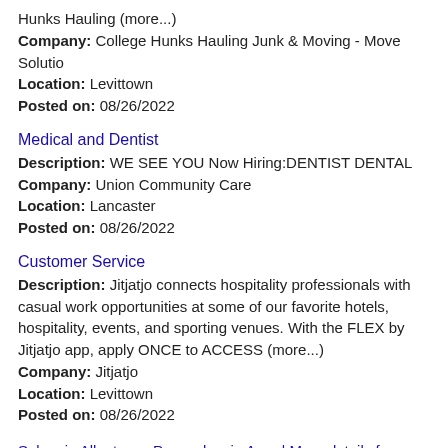Hunks Hauling (more...)
Company: College Hunks Hauling Junk & Moving - Move Solutio
Location: Levittown
Posted on: 08/26/2022
Medical and Dentist
Description: WE SEE YOU Now Hiring:DENTIST DENTAL
Company: Union Community Care
Location: Lancaster
Posted on: 08/26/2022
Customer Service
Description: Jitjatjo connects hospitality professionals with casual work opportunities at some of our favorite hotels, hospitality, events, and sporting venues. With the FLEX by Jitjatjo app, apply ONCE to ACCESS (more...)
Company: Jitjatjo
Location: Levittown
Posted on: 08/26/2022
Salary in Allentown, Pennsylvania Area | More details for Allentown, Pennsylvania Jobs |Salary
CNA